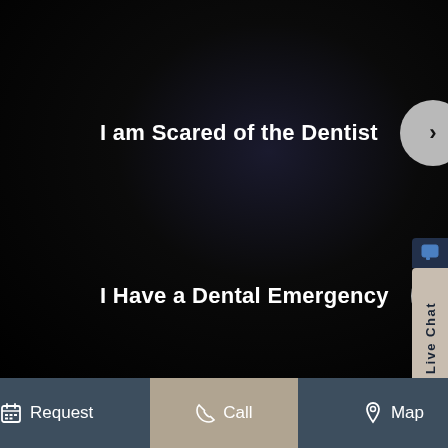I am Scared of the Dentist
I Have a Dental Emergency
View All Our Services
Request | Call | Map